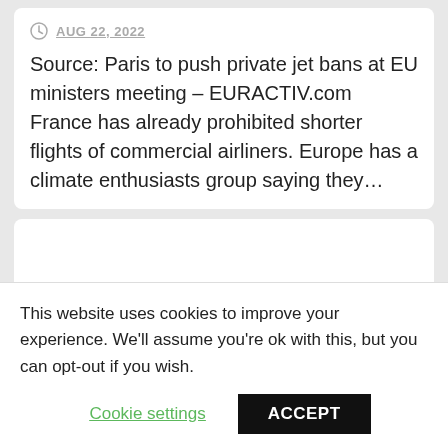AUG 22, 2022
Source: Paris to push private jet bans at EU ministers meeting – EURACTIV.com France has already prohibited shorter flights of commercial airliners. Europe has a climate enthusiasts group saying they…
EVS  TRANSPORTATION
This website uses cookies to improve your experience. We'll assume you're ok with this, but you can opt-out if you wish.
Cookie settings
ACCEPT